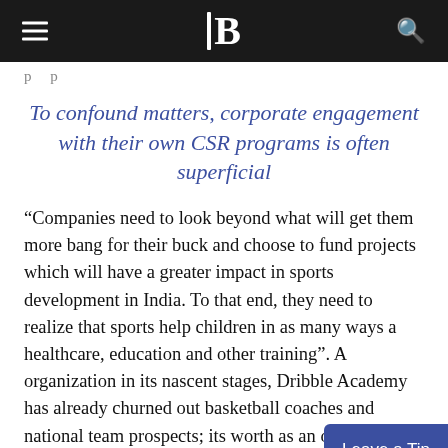B (logo/navigation bar)
p p (partial page header text)
To confound matters, corporate engagement with their own CSR programs is often superficial
“Companies need to look beyond what will get them more bang for their buck and choose to fund projects which will have a greater impact in sports development in India. To that end, they need to realize that sports help children in as many ways as healthcare, education and other training”. A organization in its nascent stages, Dribble Academy has already churned out basketball coaches and national team prospects; its worth as an organization lies not only in the fact that they give children the